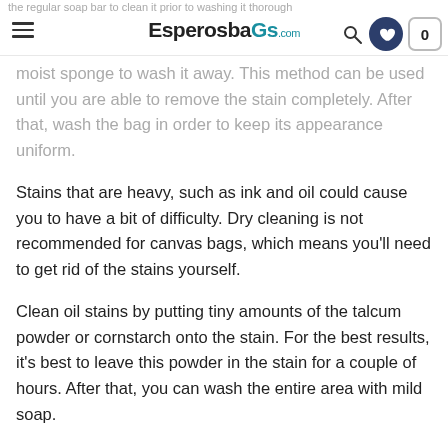EsperosbaGs.com
the regular soap bar to clean it prior to washing it thorough simply apply a tiny amount on top of the stain, then use a moist sponge to wash it away. This method can be used until you are able to remove the stain completely. After that, wash the bag in order to keep its appearance uniform.
Stains that are heavy, such as ink and oil could cause you to have a bit of difficulty. Dry cleaning is not recommended for canvas bags, which means you'll need to get rid of the stains yourself.
Clean oil stains by putting tiny amounts of the talcum powder or cornstarch onto the stain. For the best results, it's best to leave this powder in the stain for a couple of hours. After that, you can wash the entire area with mild soap.
In the event that you spill some ink onto the canvas bag, there's no need to be concerned. It is possible to remove the